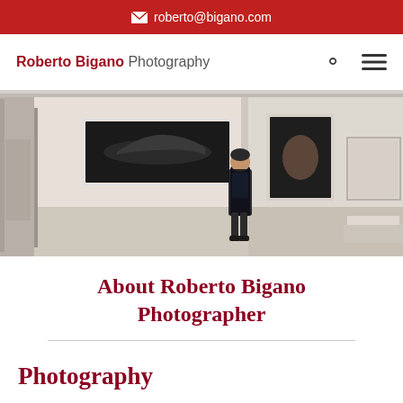✉ roberto@bigano.com
Roberto Bigano Photography
[Figure (photo): Roberto Bigano standing in a photography gallery with several large framed prints on the wall, including a wide horizontal nude silhouette photo and portrait photographs]
About Roberto Bigano Photographer
Photography